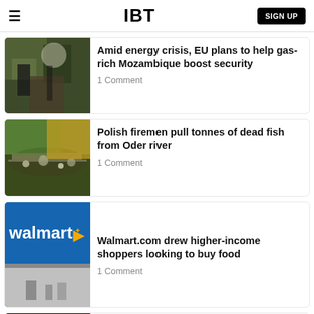IBT | SIGN UP
Amid energy crisis, EU plans to help gas-rich Mozambique boost security
1 Comment
Polish firemen pull tonnes of dead fish from Oder river
1 Comment
Walmart.com drew higher-income shoppers looking to buy food
1 Comment
Climate Change Driving